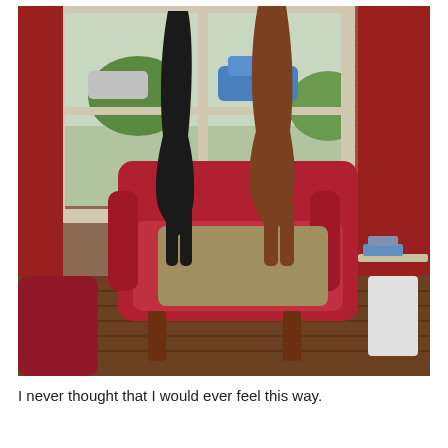[Figure (photo): Two dogs standing upright on a red armchair, looking out a window. The room has red walls, a hardwood floor, and outside is a street scene with a blue car and greenery visible through the window.]
I never thought that I would ever feel this way.